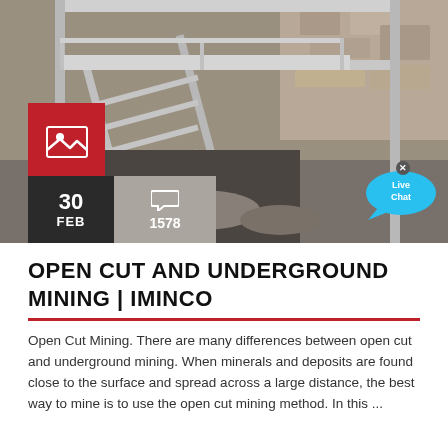[Figure (photo): Photograph of metal mining structure/stairs at a mining site, with rock/earth in background]
OPEN CUT AND UNDERGROUND MINING | IMINCO
Open Cut Mining. There are many differences between open cut and underground mining. When minerals and deposits are found close to the surface and spread across a large distance, the best way to mine is to use the open cut mining method. In this ...